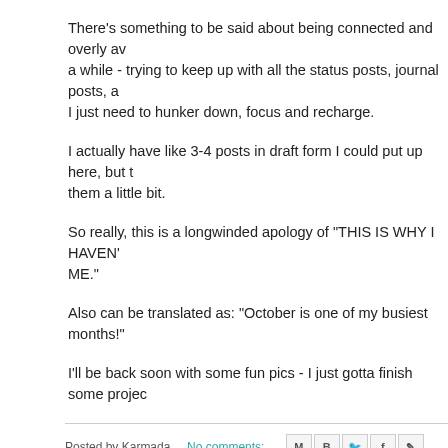There's something to be said about being connected and overly av a while - trying to keep up with all the status posts, journal posts, a I just need to hunker down, focus and recharge.
I actually have like 3-4 posts in draft form I could put up here, but t them a little bit.
So really, this is a longwinded apology of "THIS IS WHY I HAVEN' ME."
Also can be translated as: "October is one of my busiest months!"
I'll be back soon with some fun pics - I just gotta finish some projec
Posted by Karmada   No comments:
Labels: In Real Life
October 6, 2011
Adventures in Charms